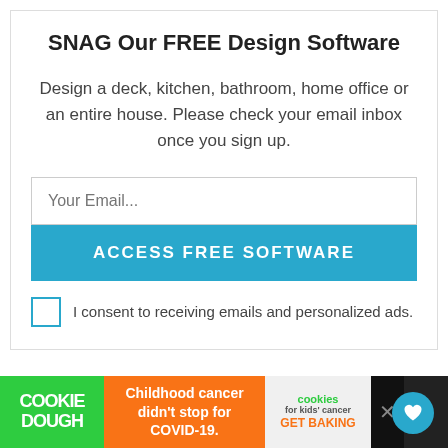SNAG Our FREE Design Software
Design a deck, kitchen, bathroom, home office or an entire house. Please check your email inbox once you sign up.
Your Email...
ACCESS FREE SOFTWARE
I consent to receiving emails and personalized ads.
The outdoor spaces on the property are impressive, to say the least.  First, there is a
[Figure (screenshot): Cookie Dough advertisement bar: COOKIE DOUGH logo in green, orange text block 'Childhood cancer didn't stop for COVID-19.', cookies for kids cancer logo with GET BAKING, and close button X]